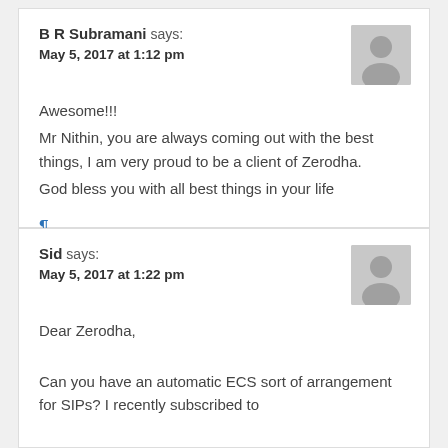B R Subramani says: May 5, 2017 at 1:12 pm
Awesome!!!
Mr Nithin, you are always coming out with the best things, I am very proud to be a client of Zerodha.
God bless you with all best things in your life
¶
Reply
Sid says: May 5, 2017 at 1:22 pm
Dear Zerodha,

Can you have an automatic ECS sort of arrangement for SIPs? I recently subscribed to